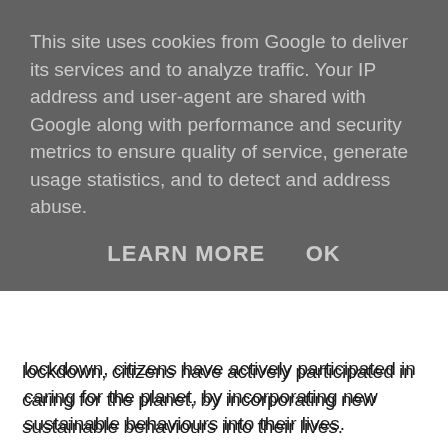This site uses cookies from Google to deliver its services and to analyze traffic. Your IP address and user-agent are shared with Google along with performance and security metrics to ensure quality of service, generate usage statistics, and to detect and address abuse.
LEARN MORE   OK
lockdown, citizens have actively participated in caring for the planet, by incorporating new sustainable behaviours into their lives.
In fact, almost 20% of Spaniards have adopted new habits during confinement to protect the environment, such as including new waste in their habit of recycling, reusing objects rather than discarding them or avoiding the consumption of plastic bags, according to data from the recent study "Sustainability, environmental commitment and recycling after COVID-19".
There are those who are looking for conventional tourist destinations and those who are looking for alternative ones, those who want to disconnect in a spiritual way or those who